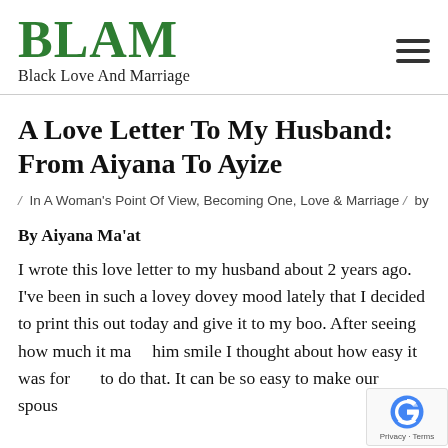BLAM Black Love And Marriage
A Love Letter To My Husband: From Aiyana To Ayize
/ In A Woman's Point Of View, Becoming One, Love & Marriage / by
By Aiyana Ma'at
I wrote this love letter to my husband about 2 years ago. I've been in such a lovey dovey mood lately that I decided to print this out today and give it to my boo. After seeing how much it made him smile I thought about how easy it was for to do that. It can be so easy to make our spouse